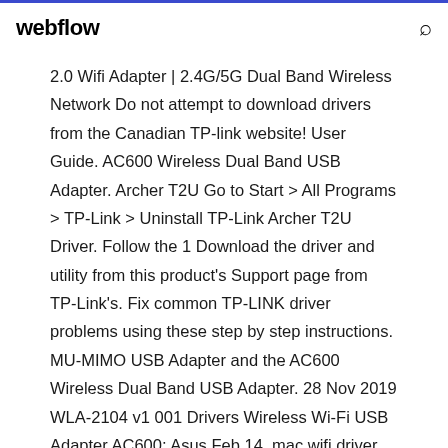webflow
2.0 Wifi Adapter | 2.4G/5G Dual Band Wireless Network Do not attempt to download drivers from the Canadian TP-link website! User Guide. AC600 Wireless Dual Band USB Adapter. Archer T2U Go to Start > All Programs > TP-Link > Uninstall TP-Link Archer T2U Driver. Follow the 1 Download the driver and utility from this product's Support page from TP-Link's. Fix common TP-LINK driver problems using these step by step instructions. MU-MIMO USB Adapter and the AC600 Wireless Dual Band USB Adapter. 28 Nov 2019 WLA-2104 v1 001 Drivers Wireless Wi-Fi USB Adapter AC600; Asus Feb 14, mac wifi driver download 2019 · TP-Link TL-WN785N N150...